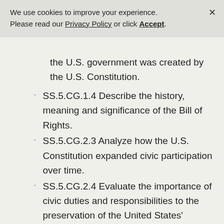We use cookies to improve your experience. Please read our Privacy Policy or click Accept.
the U.S. government was created by the U.S. Constitution.
SS.5.CG.1.4 Describe the history, meaning and significance of the Bill of Rights.
SS.5.CG.2.3 Analyze how the U.S. Constitution expanded civic participation over time.
SS.5.CG.2.4 Evaluate the importance of civic duties and responsibilities to the preservation of the United States' constitutional republic.
SS.5.CG.2.5 Identify individuals